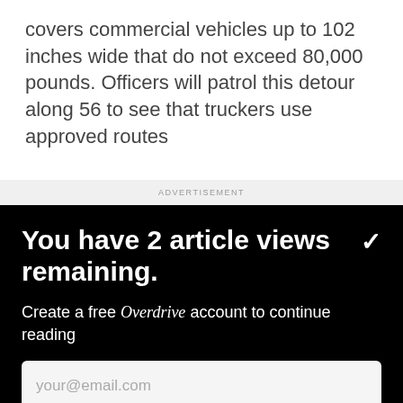covers commercial vehicles up to 102 inches wide that do not exceed 80,000 pounds. Officers will patrol this detour along 56 to see that truckers use approved routes
ADVERTISEMENT
You have 2 article views remaining.
Create a free Overdrive account to continue reading
your@email.com
CONTINUE